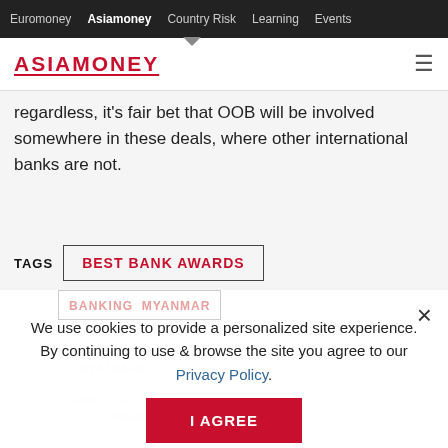Euromoney | Asiamoney | Country Risk | Learning | Events
[Figure (logo): ASIAMONEY logo in red with underline, and hamburger menu icon]
regardless, it's fair bet that OOB will be involved somewhere in these deals, where other international banks are not.
TAGS  BEST BANK AWARDS
AWARDS
SOUTHEAST BANKING  MYANMAR
ASIAMONEY BEST BANK AWARDS
We use cookies to provide a personalized site experience.
By continuing to use & browse the site you agree to our Privacy Policy.
I AGREE